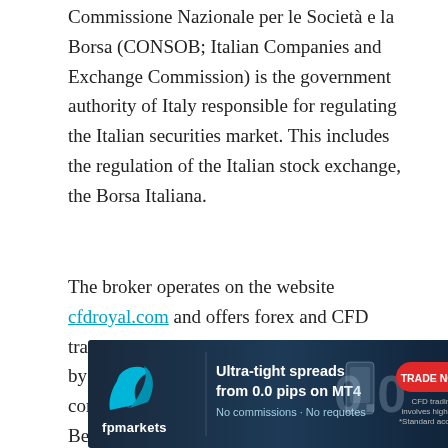Commissione Nazionale per le Società e la Borsa (CONSOB; Italian Companies and Exchange Commission) is the government authority of Italy responsible for regulating the Italian securities market. This includes the regulation of the Italian stock exchange, the Borsa Italiana.
The broker operates on the website cfdroyal.com and offers forex and CFD trading. The brokerage CFD Royal is owned by the United Limited – an offshore company registered on the Marshall Islands. Besides the address on the Marshall Islands, there is one more address ... characteristic to many offshore locations is the ... proper regulation to be able to target European
[Figure (other): FP Markets advertisement banner: 'Ultra-tight spreads from 0.0 pips on MT4. No commissions - No requotes. TRADE NOW. CFD trading involves high risk. *Standard account.' with fpmarkets logo and phone graphic.]